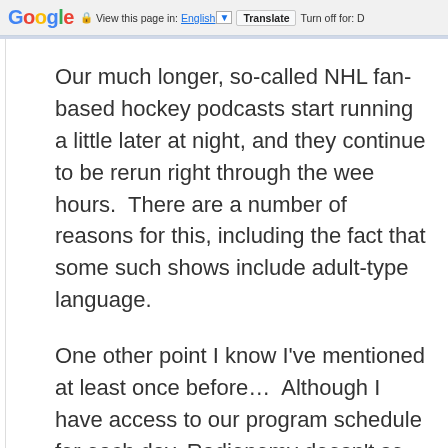Google  View this page in: English [▼]  Translate  Turn off for: D
Our much longer, so-called NHL fan-based hockey podcasts start running a little later at night, and they continue to be rerun right through the wee hours.  There are a number of reasons for this, including the fact that some such shows include adult-type language.
One other point I know I've mentioned at least once before…  Although I have access to our program schedule for each day, Radionomy doesn't so far provide a way for me to transfer that to this website, or